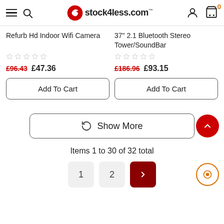stock4less.com
Refurb Hd Indoor Wifi Camera
37" 2.1 Bluetooth Stereo Tower/SoundBar
£96.43  £47.36
£186.96  £93.15
Add To Cart
Add To Cart
Show More
Items 1 to 30 of 32 total
1  2  >